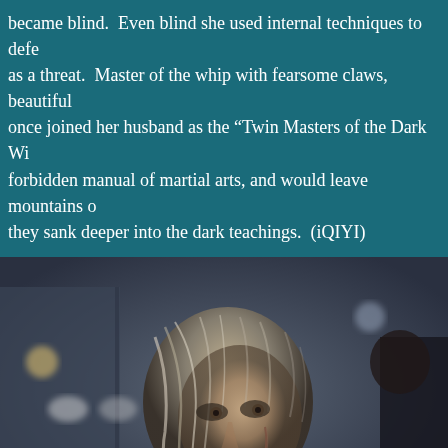became blind.  Even blind she used internal techniques to defe... as a threat.  Master of the whip with fearsome claws, beautiful... once joined her husband as the “Twin Masters of the Dark Wi... forbidden manual of martial arts, and would leave mountains o... they sank deeper into the dark teachings.  (iQIYI)
[Figure (photo): Close-up photo of an older woman with silver-streaked disheveled hair, a scar on her cheek, looking intensely to the side. Dark cinematic background with blurred lights.]
[Figure (screenshot): DuckDuckGo advertisement banner. Left side orange with text 'Search, browse, and email with more privacy. All in One Free App'. Right side dark with DuckDuckGo duck logo and brand name.]